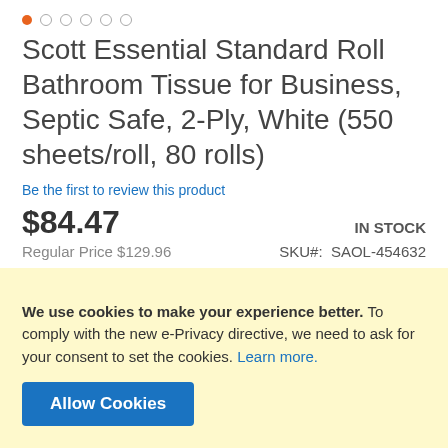[Figure (other): Carousel navigation dots: one orange filled dot followed by five empty circle dots]
Scott Essential Standard Roll Bathroom Tissue for Business, Septic Safe, 2-Ply, White (550 sheets/roll, 80 rolls)
Be the first to review this product
$84.47   IN STOCK
Regular Price $129.96   SKU#:  SAOL-454632
Notify me when the price drops
We use cookies to make your experience better. To comply with the new e-Privacy directive, we need to ask for your consent to set the cookies. Learn more.
Allow Cookies